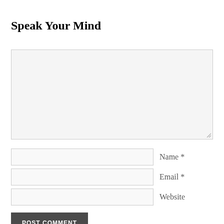Speak Your Mind
[Figure (screenshot): Large empty textarea input box with light gray background and resize handle in bottom-right corner]
Name *
Email *
Website
POST COMMENT
Strike Ellacott Timelines